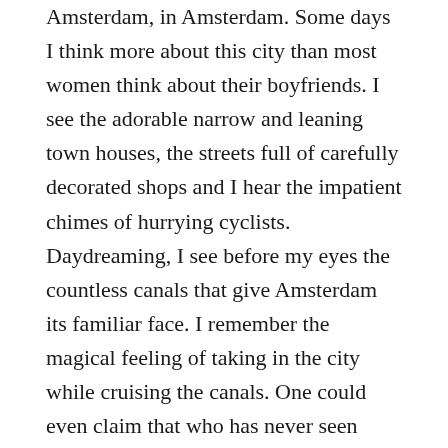Amsterdam, in Amsterdam. Some days I think more about this city than most women think about their boyfriends. I see the adorable narrow and leaning town houses, the streets full of carefully decorated shops and I hear the impatient chimes of hurrying cyclists. Daydreaming, I see before my eyes the countless canals that give Amsterdam its familiar face. I remember the magical feeling of taking in the city while cruising the canals. One could even claim that who has never seen Amsterdam from the view of a boat has never seen Amsterdam at all. Come with me, and let's discover Amsterdam as the city looks from a tour of the canals.
The 165 canals (or “grachten”) and 1,281 bridges permeate all of Amsterdam. Since the city has more canals than Venice, it has romantically been called “The Venice of the North”. We start our trip at the Westerdok just north of the main train station by the boat rental firm Canal Motorboats. In the harbour, we have plenty of space to try the first curves with our new acquaintance: a steady